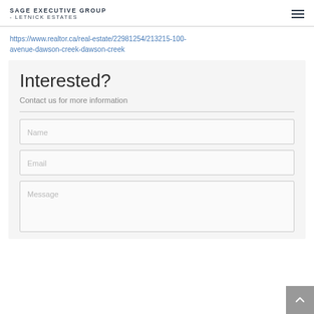Sage Executive Group - Letnick Estates
https://www.realtor.ca/real-estate/22981254/213215-100-avenue-dawson-creek-dawson-creek
Interested?
Contact us for more information
Name
Email
Message